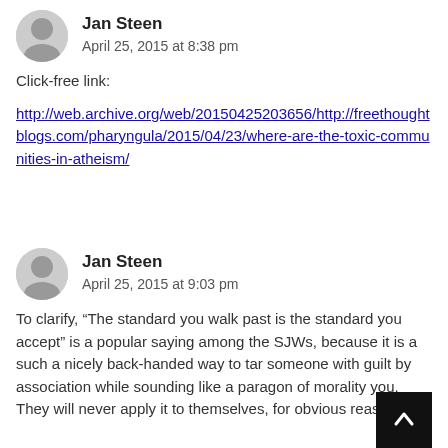Jan Steen
April 25, 2015 at 8:38 pm
Click-free link:
http://web.archive.org/web/20150425203656/http://freethoughtblogs.com/pharyngula/2015/04/23/where-are-the-toxic-communities-in-atheism/
Jan Steen
April 25, 2015 at 9:03 pm
To clarify, “The standard you walk past is the standard you accept” is a popular saying among the SJWs, because it is a such a nicely back-handed way to tar someone with guilt by association while sounding like a paragon of morality you. They will never apply it to themselves, for obvious reason